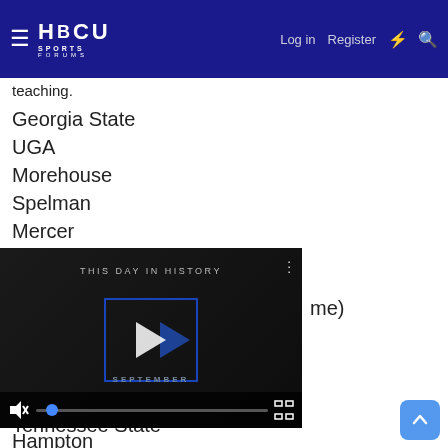HBCU Sports Forums — Log in | Register
teaching.
Georgia State
UGA
Morehouse
Spelman
Mercer
Kennesaw State
[Figure (screenshot): Video player overlay showing 'THIS DAY IN HISTORY' with a play button, muted audio icon, progress bar, and SEPTEMBER label]
me)
Hampton
Bama State
Tuskegee
Bama A&M
Tennessee State